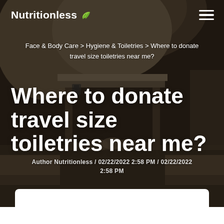Nutritionless
Face & Body Care > Hygiene & Toiletries > Where to donate travel size toiletries near me?
Where to donate travel size toiletries near me?
Author Nutritionless / 02/22/2022 2:58 PM / 02/22/2022 2:58 PM